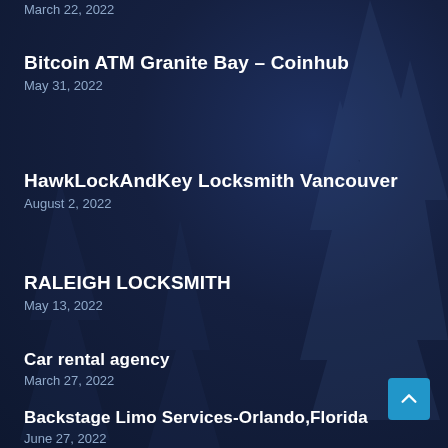March 22, 2022
Bitcoin ATM Granite Bay – Coinhub
May 31, 2022
HawkLockAndKey Locksmith Vancouver
August 2, 2022
RALEIGH LOCKSMITH
May 13, 2022
Car rental agency
March 27, 2022
Backstage Limo Services-Orlando,Florida
June 27, 2022